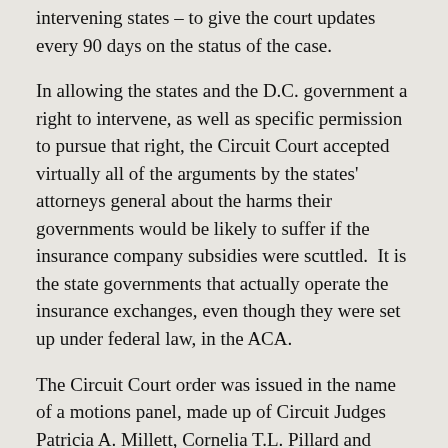intervening states – to give the court updates every 90 days on the status of the case.
In allowing the states and the D.C. government a right to intervene, as well as specific permission to pursue that right, the Circuit Court accepted virtually all of the arguments by the states' attorneys general about the harms their governments would be likely to suffer if the insurance company subsidies were scuttled.  It is the state governments that actually operate the insurance exchanges, even though they were set up under federal law, in the ACA.
The Circuit Court order was issued in the name of a motions panel, made up of Circuit Judges Patricia A. Millett, Cornelia T.L. Pillard and Robert L. Wilkins.  They are the most junior judges on the 11-member Circuit Court.